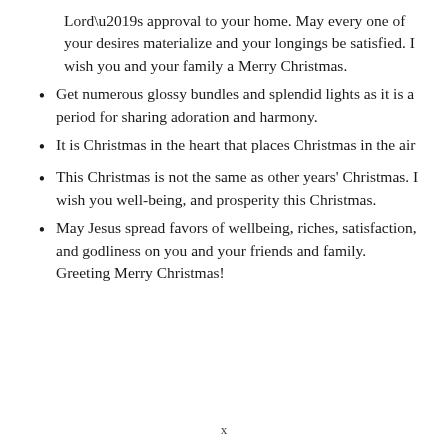Lord’s approval to your home. May every one of your desires materialize and your longings be satisfied. I wish you and your family a Merry Christmas.
Get numerous glossy bundles and splendid lights as it is a period for sharing adoration and harmony.
It is Christmas in the heart that places Christmas in the air
This Christmas is not the same as other years’ Christmas. I wish you well-being, and prosperity this Christmas.
May Jesus spread favors of wellbeing, riches, satisfaction, and godliness on you and your friends and family. Greeting Merry Christmas!
x